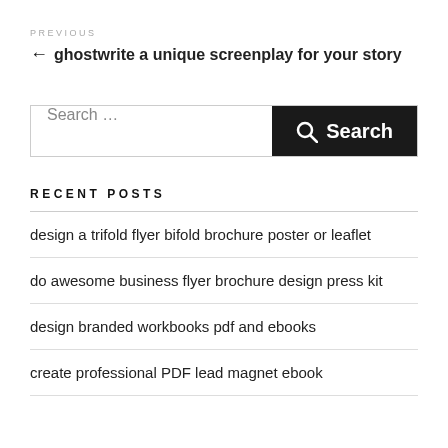PREVIOUS
← ghostwrite a unique screenplay for your story
Search …
RECENT POSTS
design a trifold flyer bifold brochure poster or leaflet
do awesome business flyer brochure design press kit
design branded workbooks pdf and ebooks
create professional PDF lead magnet ebook